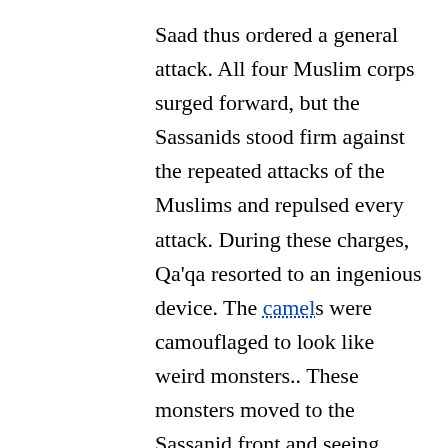Saad thus ordered a general attack. All four Muslim corps surged forward, but the Sassanids stood firm against the repeated attacks of the Muslims and repulsed every attack. During these charges, Qa'qa resorted to an ingenious device. The camels were camouflaged to look like weird monsters.. These monsters moved to the Sassanid front and seeing them the Sassanid horses turned and bolted. With the disorganization of the Sassanid cavalry, the Persians infantry at left center became vulnerable. Saad ordered the Muslims to intensify the attack. Qa'qa ibn Amr, now acting as a field commander of the Muslim army, planned to kill the Sassanid commander Rostum, and led a group of Mubarizuns, from his Syrian contingent who were also the veterans of Battle of Yarmouk, through the Sassanid light cavalry and Rostum's...